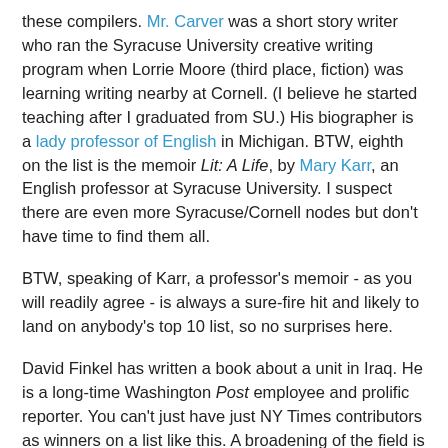these compilers. Mr. Carver was a short story writer who ran the Syracuse University creative writing program when Lorrie Moore (third place, fiction) was learning writing nearby at Cornell. (I believe he started teaching after I graduated from SU.) His biographer is a lady professor of English in Michigan. BTW, eighth on the list is the memoir Lit: A Life, by Mary Karr, an English professor at Syracuse University. I suspect there are even more Syracuse/Cornell nodes but don't have time to find them all.
BTW, speaking of Karr, a professor's memoir - as you will readily agree - is always a sure-fire hit and likely to land on anybody's top 10 list, so no surprises here.
David Finkel has written a book about a unit in Iraq. He is a long-time Washington Post employee and prolific reporter. You can't just have just NY Times contributors as winners on a list like this. A broadening of the field is needed.
The last two items to discuss on the list are outliers. Liaquat Ahamed's well publicized profile of four interwar central bankers resonated with the times, the Times and with